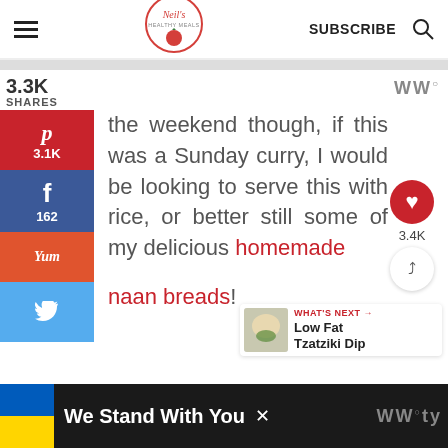Neil's Healthy Meals — SUBSCRIBE
3.3K SHARES
[Figure (infographic): Social sharing sidebar with Pinterest (3.1K), Facebook (162), Yummly, and Twitter buttons]
the weekend though, if this was a Sunday curry, I would be looking to serve this with rice, or better still some of my delicious homemade naan breads!
[Figure (logo): WW logo top right]
[Figure (infographic): Floating heart/save button with 3.4K count and share button]
[Figure (infographic): What's Next callout showing Low Fat Tzatziki Dip with thumbnail]
[Figure (infographic): Advertisement bar: Ukraine flag, We Stand With You text, close button, WW logo]